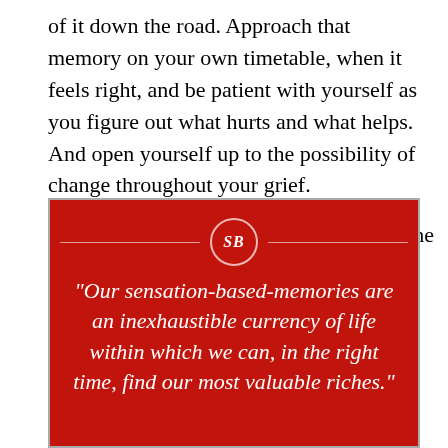of it down the road. Approach that memory on your own timetable, when it feels right, and be patient with yourself as you figure out what hurts and what helps. And open yourself up to the possibility of change throughout your grief.
The
[Figure (infographic): Red quote card with SB logo circle and decorative lines, containing italic white quote text: “Our sensation-based-memories are an inexhaustible currency of life within which we can, in the right time, find our most valuable riches.”]